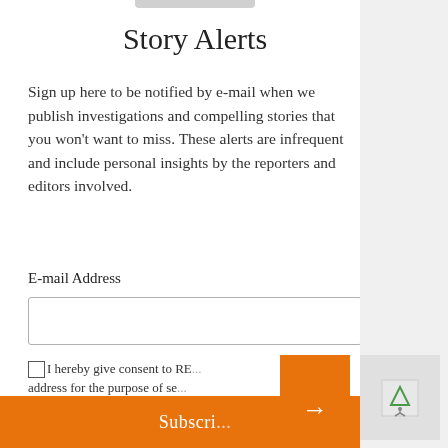Story Alerts
Sign up here to be notified by e-mail when we publish investigations and compelling stories that you won't want to miss. These alerts are infrequent and include personal insights by the reporters and editors involved.
E-mail Address
I hereby give consent to RE... address for the purpose of se... newsletter(s)
Subscri...
Despite Sv... Sanctions ... Ukraine W... Unemploy... Post-Sovie... Why.